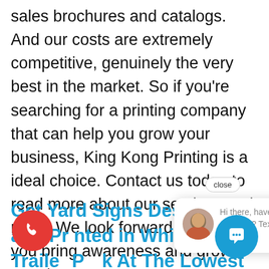sales brochures and catalogs. And our costs are extremely competitive, genuinely the very best in the market. So if you're searching for a printing company that can help you grow your business, King Kong Printing is a ideal choice. Contact us today to read more about our services and rates. We look forward to helping you bring awareness and grow your business, company, or c
Get Yard Signs Designs and Printed in White Haven Trailer Park At The Lowest Cost In the
[Figure (screenshot): Chat popup overlay with close button, avatar of a woman, and text 'Hi there, have a question? Text us here.']
[Figure (other): Red circular phone call button (bottom left)]
[Figure (other): Blue circular chat button (bottom right)]